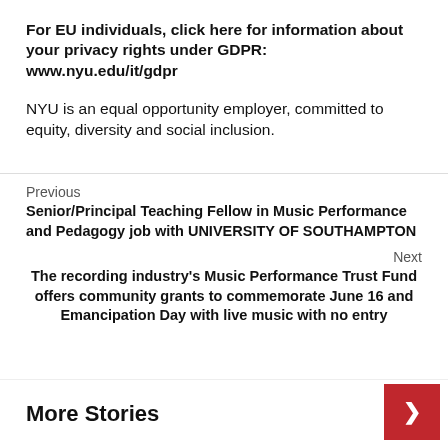For EU individuals, click here for information about your privacy rights under GDPR: www.nyu.edu/it/gdpr
NYU is an equal opportunity employer, committed to equity, diversity and social inclusion.
Previous
Senior/Principal Teaching Fellow in Music Performance and Pedagogy job with UNIVERSITY OF SOUTHAMPTON
Next
The recording industry's Music Performance Trust Fund offers community grants to commemorate June 16 and Emancipation Day with live music with no entry
More Stories